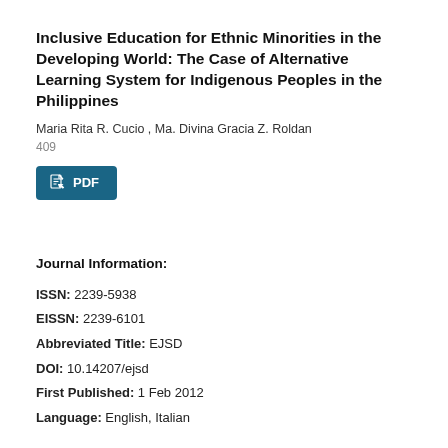Inclusive Education for Ethnic Minorities in the Developing World: The Case of Alternative Learning System for Indigenous Peoples in the Philippines
Maria Rita R. Cucio , Ma. Divina Gracia Z. Roldan
409
Journal Information:
ISSN: 2239-5938
EISSN: 2239-6101
Abbreviated Title: EJSD
DOI: 10.14207/ejsd
First Published: 1 Feb 2012
Language: English, Italian